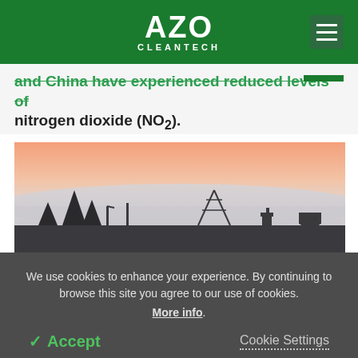AZO CLEANTECH
and China have experienced reduced levels of nitrogen dioxide (NO₂).
[Figure (photo): Landscape photo of a hazy city skyline at dusk/dawn with silhouettes of trees and industrial structures against a pink and grey sky with low clouds or smog.]
We use cookies to enhance your experience. By continuing to browse this site you agree to our use of cookies. More info.
✓ Accept   Cookie Settings